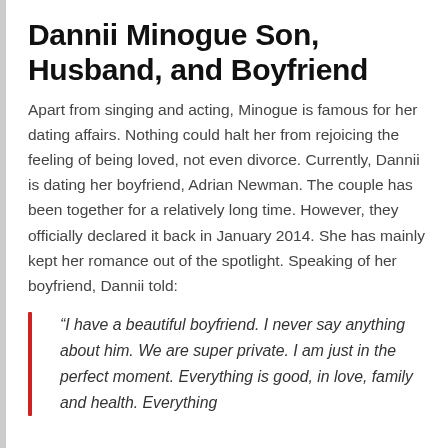Dannii Minogue Son, Husband, and Boyfriend
Apart from singing and acting, Minogue is famous for her dating affairs. Nothing could halt her from rejoicing the feeling of being loved, not even divorce. Currently, Dannii is dating her boyfriend, Adrian Newman. The couple has been together for a relatively long time. However, they officially declared it back in January 2014. She has mainly kept her romance out of the spotlight. Speaking of her boyfriend, Dannii told:
“I have a beautiful boyfriend. I never say anything about him. We are super private. I am just in the perfect moment. Everything is good, in love, family and health. Everything